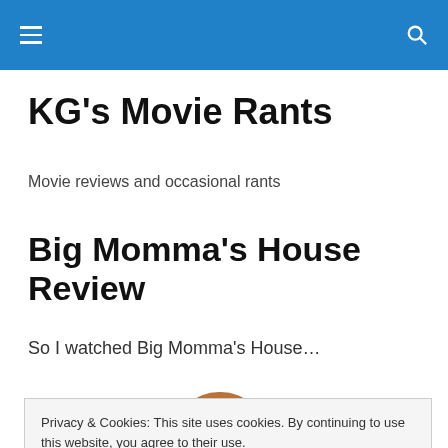KG's Movie Rants — navigation bar with hamburger menu and search icon
KG's Movie Rants
Movie reviews and occasional rants
Big Momma's House Review
So I watched Big Momma's House…
Privacy & Cookies: This site uses cookies. By continuing to use this website, you agree to their use.
To find out more, including how to control cookies, see here: Cookie Policy